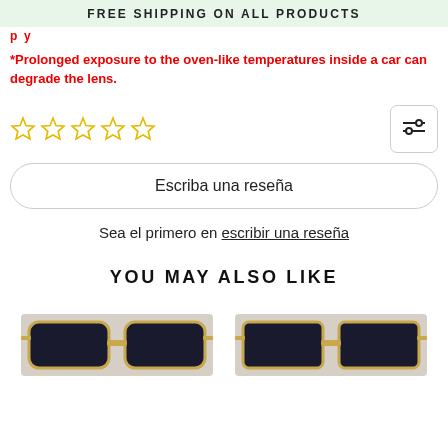FREE SHIPPING ON ALL PRODUCTS
*Prolonged exposure to the oven-like temperatures inside a car can degrade the lens.
[Figure (other): Five empty star rating icons in gold/yellow outline]
Escriba una reseña
Sea el primero en escribir una reseña
YOU MAY ALSO LIKE
[Figure (photo): Two product photos of sunglasses partially visible at bottom of page]